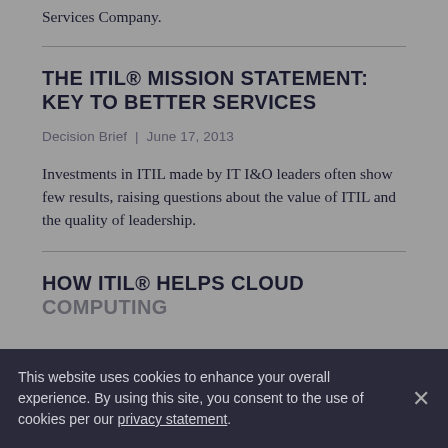Services Company.
THE ITIL® MISSION STATEMENT: KEY TO BETTER SERVICES
Decision Brief | June 17, 2013
Investments in ITIL made by IT I&O leaders often show few results, raising questions about the value of ITIL and the quality of leadership.
HOW ITIL® HELPS CLOUD COMPUTING
This website uses cookies to enhance your overall experience. By using this site, you consent to the use of cookies per our privacy statement.